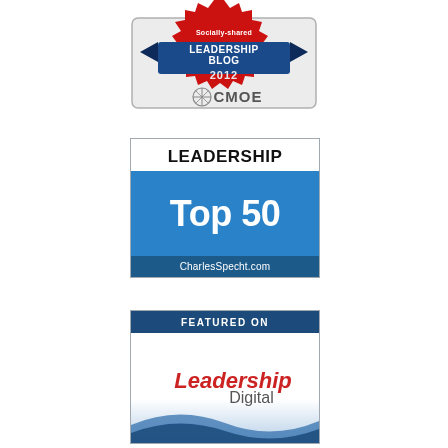[Figure (logo): CMOE Socially-shared Leadership Blog 2012 award badge with red starburst, blue banner, and CMOE logo]
[Figure (logo): Leadership Top 50 badge from CharlesSpecht.com with white and blue sections]
[Figure (logo): Featured on Leadership Digital badge with dark blue header and red/grey text on white background with blue wave]